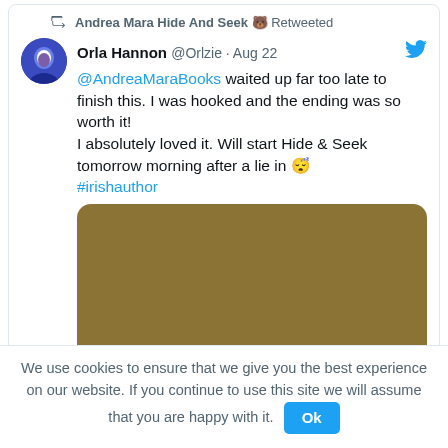Andrea Mara Hide And Seek 🐻 Retweeted
Orla Hannon @Orlzie · Aug 22
@AndreaMaraBooks waited up far too late to finish this. I was hooked and the ending was so worth it!
I absolutely loved it. Will start Hide & Seek tomorrow morning after a lie in 😴
#irishauthor
[Figure (photo): Brown/tan colored image placeholder with rounded corners]
We use cookies to ensure that we give you the best experience on our website. If you continue to use this site we will assume that you are happy with it. Ok